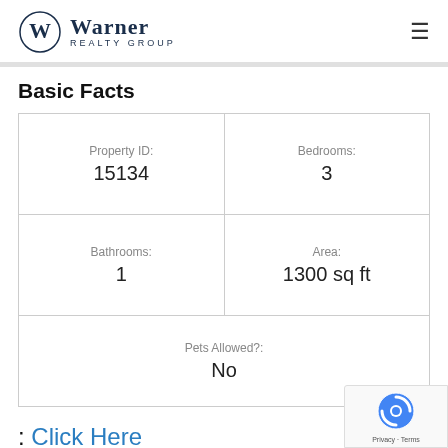[Figure (logo): Warner Realty Group logo with W in a circle and company name]
Basic Facts
| Property ID: 15134 | Bedrooms: 3 |
| Bathrooms: 1 | Area: 1300 sq ft |
| Pets Allowed?: No |
: Click Here